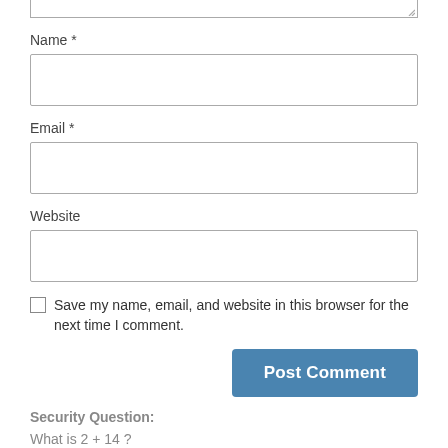Name *
Email *
Website
Save my name, email, and website in this browser for the next time I comment.
Post Comment
Security Question:
What is 2 + 14 ?